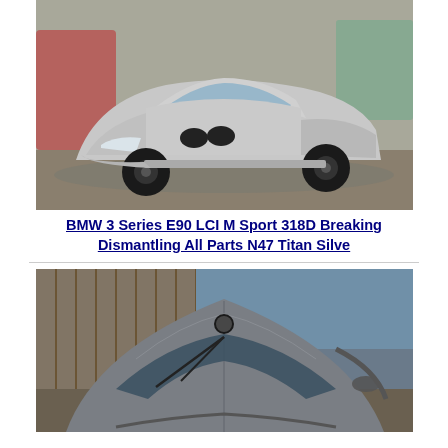[Figure (photo): Silver BMW 3 Series E90 LCI M Sport 318D sedan photographed outdoors in a dismantling yard, front three-quarter view, black alloy wheels, surrounded by other cars and scrap.]
BMW 3 Series E90 LCI M Sport 318D Breaking Dismantling All Parts N47 Titan Silve
[Figure (photo): Dark grey/silver BMW 3 Series E90 coupe photographed outdoors showing the hood and front windshield from above-front angle, parked near a wooden fence.]